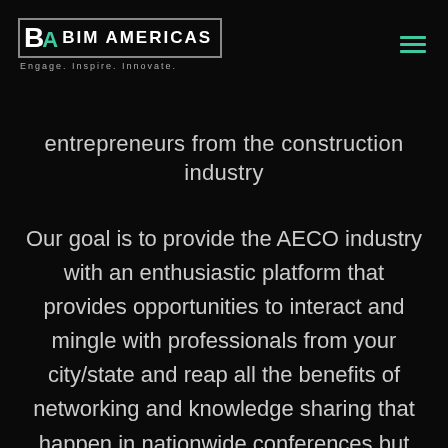BIM AMERICAS — Engage. Inspire. Innovate.
entrepreneurs from the construction industry
Our goal is to provide the AECO industry with an enthusiastic platform that provides opportunities to interact and mingle with professionals from your city/state and reap all the benefits of networking and knowledge sharing that happen in nationwide conferences but without the big price tag.